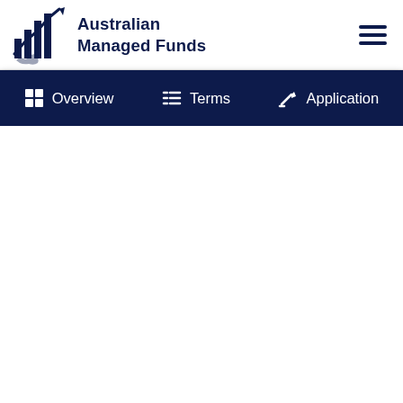[Figure (logo): Australian Managed Funds logo with bar chart and upward arrow icon, dark navy color]
Australian Managed Funds
Overview | Terms | Application